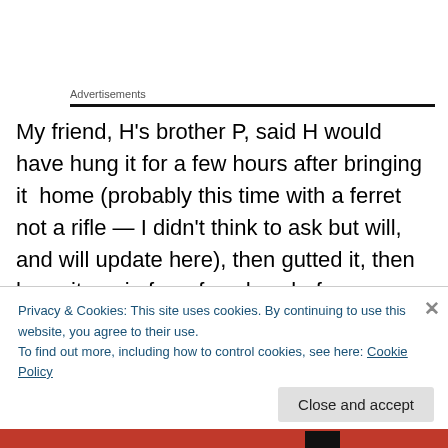Advertisements
My friend, H's brother P, said H would have hung it for a few hours after bringing it home (probably this time with a ferret not a rifle — I didn't think to ask but will, and will update here), then gutted it, then hung it again for a few days before skinning and putting it into parts. These are men who's childhoods would have been 70 years ago. H
Privacy & Cookies: This site uses cookies. By continuing to use this website, you agree to their use.
To find out more, including how to control cookies, see here: Cookie Policy